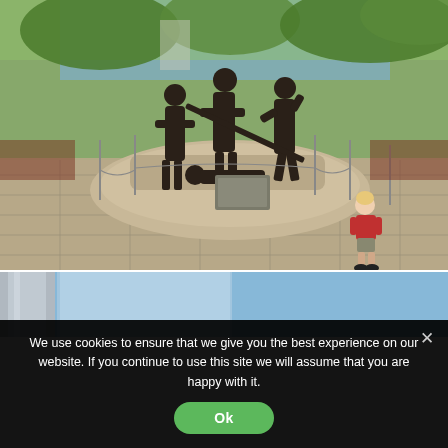[Figure (photo): Outdoor bronze firefighter memorial statue showing firefighters in action, with a child standing nearby looking at the monument. The statue is set on a stone plaza surrounded by trees and greenery.]
[Figure (photo): Partial view of a second image below, showing a blue sky and what appears to be a building with reflective surfaces.]
We use cookies to ensure that we give you the best experience on our website. If you continue to use this site we will assume that you are happy with it.